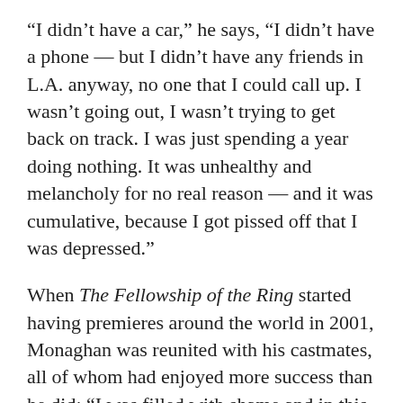“I didn’t have a car,” he says, “I didn’t have a phone — but I didn’t have any friends in L.A. anyway, no one that I could call up. I wasn’t going out, I wasn’t trying to get back on track. I was just spending a year doing nothing. It was unhealthy and melancholy for no real reason — and it was cumulative, because I got pissed off that I was depressed.”
When The Fellowship of the Ring started having premieres around the world in 2001, Monaghan was reunited with his castmates, all of whom had enjoyed more success than he did: “I was filled with shame and in this paradox state of clearly needing help but denying it when people offered.”
He visited Mexico, where Boyd was filming Master and Commander. Boyd said he couldn’t get him a job